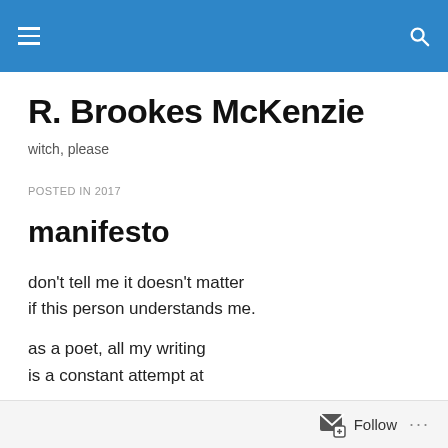R. Brookes McKenzie — site navigation header with hamburger menu and search icon
R. Brookes McKenzie
witch, please
POSTED IN 2017
manifesto
don't tell me it doesn't matter
if this person understands me.

as a poet, all my writing
is a constant attempt at
Follow ...